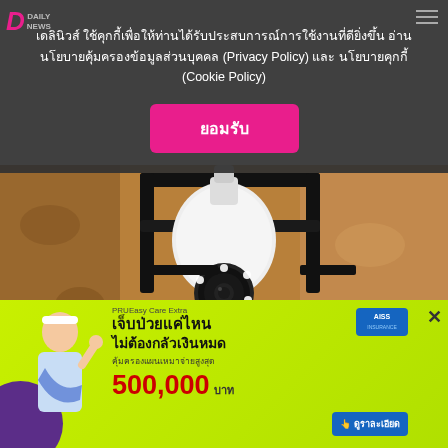เดลินิวส์ ใช้คุกกี้เพื่อให้ท่านได้รับประสบการณ์การใช้งานที่ดียิ่งขึ้น อ่านนโยบายคุ้มครองข้อมูลส่วนบุคคล (Privacy Policy) และ นโยบายคุกกี้ (Cookie Policy)
ยอมรับ
[Figure (photo): Security camera shaped like a lightbulb mounted on a wall bracket, showing white dome camera body with LED ring, attached to a textured brown/beige wall]
Homeowners Are Trading In Their Doorbell Cams For
[Figure (other): Advertisement banner for PRUEasy Care Extra insurance with person in medical sling, showing 500,000 baht coverage amount on green background with AISS logo]